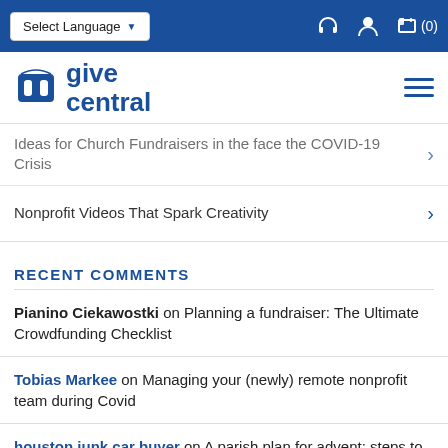Select Language | (icons: headset, user, cart (0))
[Figure (logo): GiveCentral logo with stylized 'm' icon and text 'give central' in blue, plus hamburger menu icon]
Ideas for Church Fundraisers in the face the COVID-19 Crisis
Nonprofit Videos That Spark Creativity
RECENT COMMENTS
Pianino Ciekawostki on Planning a fundraiser: The Ultimate Crowdfunding Checklist
Tobias Markee on Managing your (newly) remote nonprofit team during Covid
houston junk car buyer on A parish plan for advent: steps to a better advent appeal